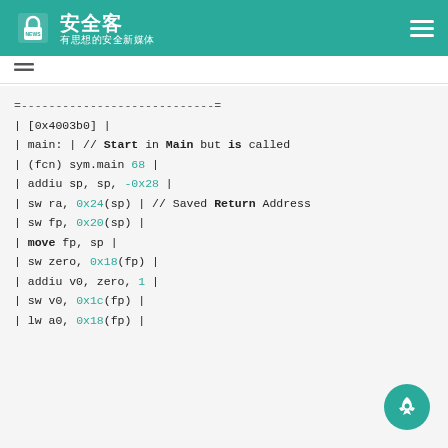安全客 有思想的安全新媒体
=----------------------------=
| [0x4003b0]                 |
| main:                      | // Start in Main but is called
| (fcn) sym.main 68          |
| addiu sp, sp, -0x28        |
| sw ra, 0x24(sp)            | // Saved Return Address
| sw fp, 0x20(sp)            |
| move fp, sp                |
| sw zero, 0x18(fp)          |
| addiu v0, zero, 1          |
| sw v0, 0x1c(fp)            |
| lw a0, 0x18(fp)            |